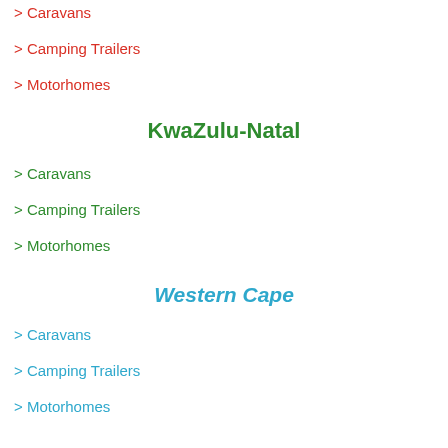> Caravans
> Camping Trailers
> Motorhomes
KwaZulu-Natal
> Caravans
> Camping Trailers
> Motorhomes
Western Cape
> Caravans
> Camping Trailers
> Motorhomes